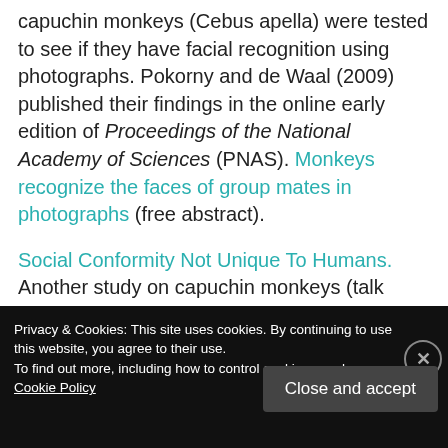capuchin monkeys (Cebus apella) were tested to see if they have facial recognition using photographs. Pokorny and de Waal (2009) published their findings in the online early edition of Proceedings of the National Academy of Sciences (PNAS). Monkeys recognize the faces of group mates in photographs (free abstract).
Social Conformity Not Unique To Humans. Another study on capuchin monkeys (talk about conforming, LOL). Dr. Marietta Dindo and Professor Andrew Whiten of the University of St Andrews show that capuchin monkeys would copy
Privacy & Cookies: This site uses cookies. By continuing to use this website, you agree to their use.
To find out more, including how to control cookies, see here: Cookie Policy